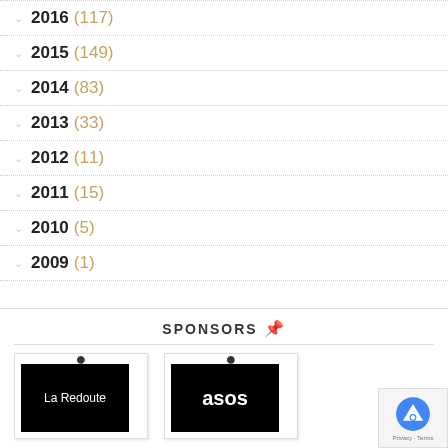2016 (117)
2015 (149)
2014 (83)
2013 (33)
2012 (11)
2011 (15)
2010 (5)
2009 (1)
SPONSORS
[Figure (logo): La Redoute sponsor logo - white text on black background]
[Figure (logo): ASOS sponsor logo - white text on black background]